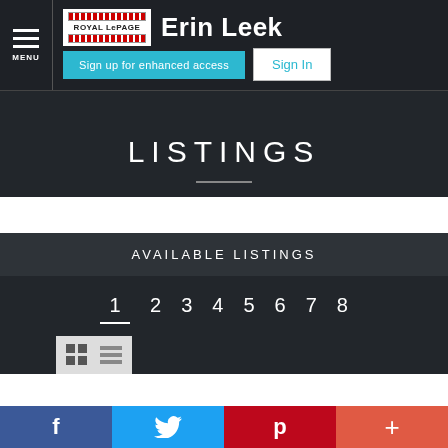Royal LePage  Erin Leek – Sign up for enhanced access  Sign In
LISTINGS
AVAILABLE LISTINGS
1  2  3  4  5  6  7  8
f  (twitter bird)  p  +